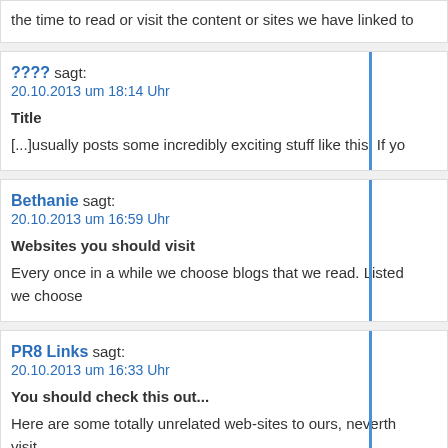the time to read or visit the content or sites we have linked to
???? sagt:
20.10.2013 um 18:14 Uhr
Title
[...]usually posts some incredibly exciting stuff like this. If yo
Bethanie sagt:
20.10.2013 um 16:59 Uhr
Websites you should visit
Every once in a while we choose blogs that we read. Listed
we choose
PR8 Links sagt:
20.10.2013 um 16:33 Uhr
You should check this out...
Here are some totally unrelated web-sites to ours, neverth
visit …